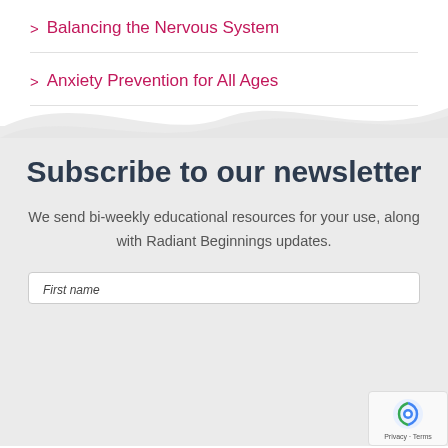> Balancing the Nervous System
> Anxiety Prevention for All Ages
Subscribe to our newsletter
We send bi-weekly educational resources for your use, along with Radiant Beginnings updates.
First name